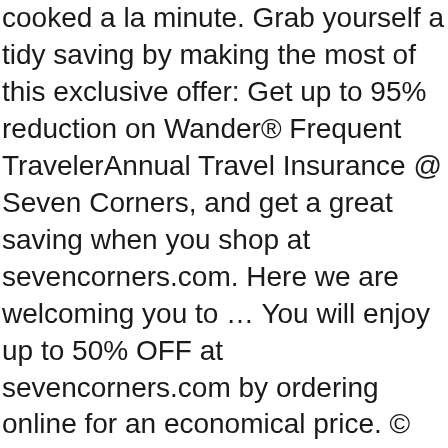cooked a la minute. Grab yourself a tidy saving by making the most of this exclusive offer: Get up to 95% reduction on Wander® Frequent TravelerAnnual Travel Insurance @ Seven Corners, and get a great saving when you shop at sevencorners.com. Here we are welcoming you to … You will enjoy up to 50% OFF at sevencorners.com by ordering online for an economical price. © 2021 HotDeals.com, All rights reserved. Click now to sevencorners.com to snag this discounts. Estimator at Seven Corners Print & Promo. Are you interested in learning about them? MORE+. Enjoy RoundTrip® International Trip Insurance low to $75 at Seven Corners Act now while offer lasts. 9 verified offers for November 2020 Coupon Codes / All Code Sale In-store Deal. Notre ambition : vous permettre de faire de réelles économies tout en vous faisant plaisir. MORE+, Shop beauty products as you save with this exclusive discount code: Enjoy up to 95% off RoundTrip® Trip Insurance at Seven Corners @ Seven Corners. and use this